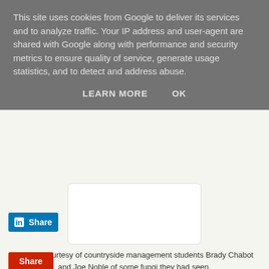This site uses cookies from Google to deliver its services and to analyze traffic. Your IP address and user-agent are shared with Google along with performance and security metrics to ensure quality of service, generate usage statistics, and to detect and address abuse.
LEARN MORE   OK
[Figure (photo): White rounded rectangle placeholder for an image of fungi]
Picture Courtesy of countryside management students Brady Chabot and Joe Noble of some fungi they had seen.
[Figure (logo): LinkedIn Share button — blue background with white 'in' logo and 'Share' text]
[Figure (other): Red Share button]